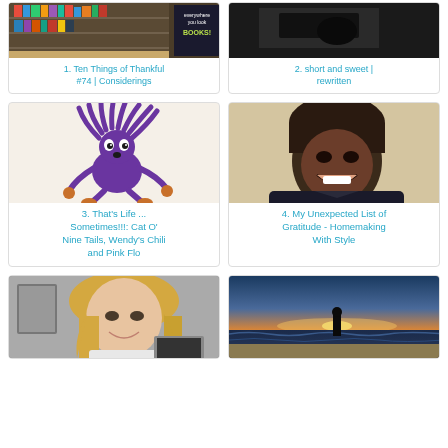[Figure (photo): Library interior with bookshelves and a sign 'everywhere you look BOOKS!']
1. Ten Things of Thankful #74 | Considerings
[Figure (photo): Dark photo of a person or scene]
2. short and sweet | rewritten
[Figure (illustration): Purple cartoon cat character (Cat O' Nine Tails) falling upside down]
3. That's Life ... Sometimes!!!: Cat O' Nine Tails, Wendy's Chili and Pink Flo
[Figure (photo): Portrait of a smiling Black woman wearing a dark headscarf and jacket]
4. My Unexpected List of Gratitude - Homemaking With Style
[Figure (photo): Black and white photo of a blonde woman smiling]
[Figure (photo): Sunset beach scene with a silhouette of a person standing by the ocean]